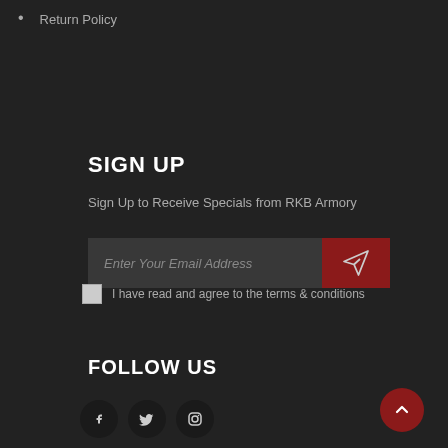Return Policy
SIGN UP
Sign Up to Receive Specials from RKB Armory
Enter Your Email Address
I have read and agree to the terms & conditions
FOLLOW US
[Figure (illustration): Social media icons: Facebook, Twitter, Instagram circles]
[Figure (illustration): Scroll to top red circle button with upward chevron]